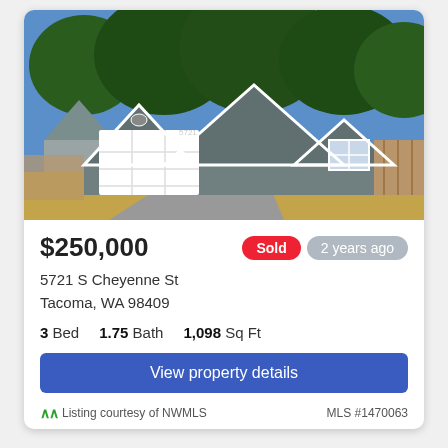[Figure (photo): Exterior photo of a gray single-story home with white garage door, multiple gabled rooflines, and dry grass yard. Large trees in background, wooden fence on sides.]
$250,000
Sold  2 years ago
5721 S Cheyenne St
Tacoma, WA 98409
3 Bed  1.75 Bath  1,098 Sq Ft
View property details
Listing courtesy of NWMLS  MLS #1470063